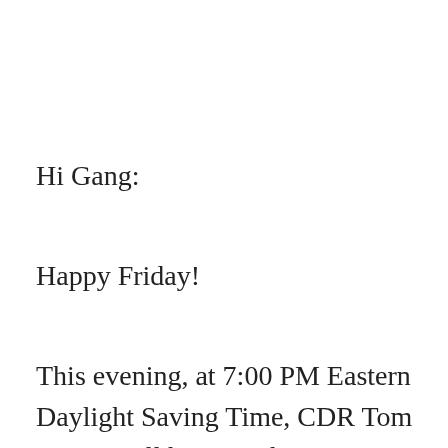Hi Gang:
Happy Friday!
This evening, at 7:00 PM Eastern Daylight Saving Time, CDR Tom Garcia will be guest-hosting my radio program “The